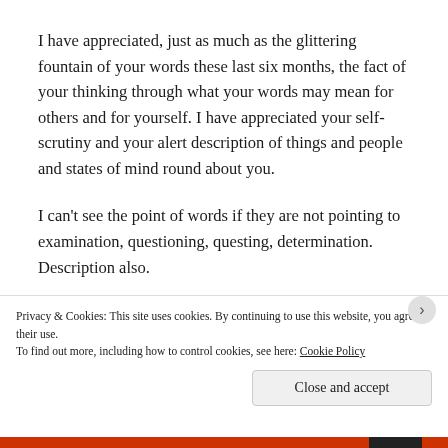I have appreciated, just as much as the glittering fountain of your words these last six months, the fact of your thinking through what your words may mean for others and for yourself. I have appreciated your self-scrutiny and your alert description of things and people and states of mind round about you.
I can't see the point of words if they are not pointing to examination, questioning, questing, determination. Description also.
And that is what you have done in this piece which is the finest thing you have written of many fine things. It
Privacy & Cookies: This site uses cookies. By continuing to use this website, you agree to their use.
To find out more, including how to control cookies, see here: Cookie Policy
Close and accept